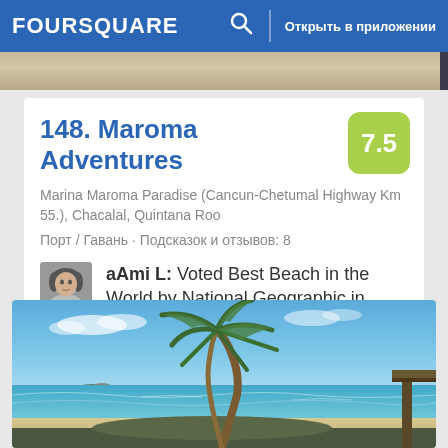FOURSQUARE  🔍  Открыть в приложении
148. Maroma Adventures
Marina Maroma Paradise (Cancun-Chetumal Highway Km 55.), Chacalal, Quintana Roo
Порт / Гавань · Подсказок и отзывов: 8
aAmi L: Voted Best Beach in the World by National Geographic in 2008
[Figure (photo): Tropical beach scene with a palm tree in the foreground, turquoise ocean water, and a bright blue sky]